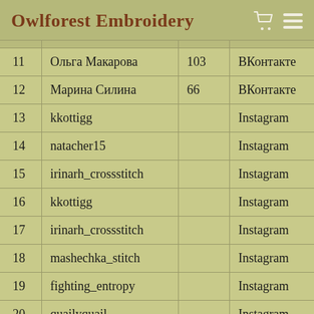Owlforest Embroidery
| # | Name | Count | Platform |
| --- | --- | --- | --- |
| 11 | Ольга Макарова | 103 | ВКонтакте |
| 12 | Марина Силина | 66 | ВКонтакте |
| 13 | kkottigg |  | Instagram |
| 14 | natacher15 |  | Instagram |
| 15 | irinarh_crossstitch |  | Instagram |
| 16 | kkottigg |  | Instagram |
| 17 | irinarh_crossstitch |  | Instagram |
| 18 | mashechka_stitch |  | Instagram |
| 19 | fighting_entropy |  | Instagram |
| 20 | quailyquail |  | Instagram |
| 21 | littlebirdystitcher |  | Instagram |
| 22 | littlebirdystitcher |  | Instagram |